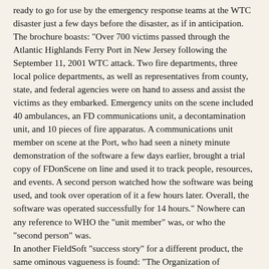ready to go for use by the emergency response teams at the WTC disaster just a few days before the disaster, as if in anticipation. The brochure boasts: "Over 700 victims passed through the Atlantic Highlands Ferry Port in New Jersey following the September 11, 2001 WTC attack. Two fire departments, three local police departments, as well as representatives from county, state, and federal agencies were on hand to assess and assist the victims as they embarked. Emergency units on the scene included 40 ambulances, an FD communications unit, a decontamination unit, and 10 pieces of fire apparatus. A communications unit member on scene at the Port, who had seen a ninety minute demonstration of the software a few days earlier, brought a trial copy of FDonScene on line and used it to track people, resources, and events. A second person watched how the software was being used, and took over operation of it a few hours later. Overall, the software was operated successfully for 14 hours." Nowhere can any reference to WHO the "unit member" was, or who the "second person" was.
In another FieldSoft "success story" for a different product, the same ominous vagueness is found: "The Organization of American States (OAS) planned a major meeting in a North American city. Intelligence gathering operations revealed that anarchists planned to disrupt the meeting. The local police service evaluated a number